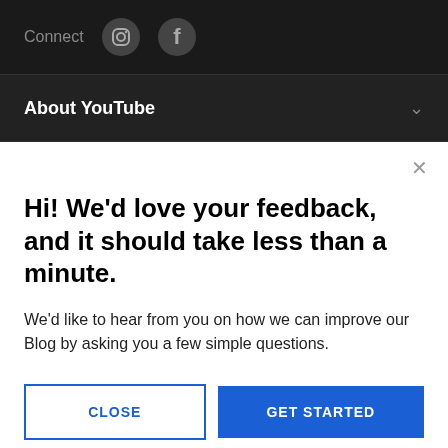Connect
About YouTube
Hi! We'd love your feedback, and it should take less than a minute.
We'd like to hear from you on how we can improve our Blog by asking you a few simple questions.
CLOSE
GET STARTED